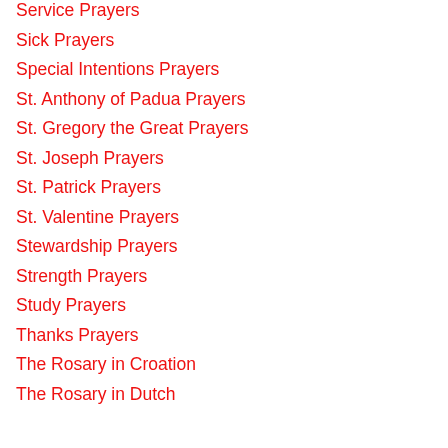Service Prayers
Sick Prayers
Special Intentions Prayers
St. Anthony of Padua Prayers
St. Gregory the Great Prayers
St. Joseph Prayers
St. Patrick Prayers
St. Valentine Prayers
Stewardship Prayers
Strength Prayers
Study Prayers
Thanks Prayers
The Rosary in Croation
The Rosary in Dutch